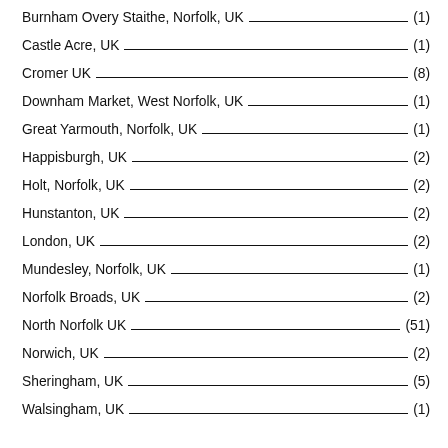Burnham Overy Staithe, Norfolk, UK (1)
Castle Acre, UK (1)
Cromer UK (8)
Downham Market, West Norfolk, UK (1)
Great Yarmouth, Norfolk, UK (1)
Happisburgh, UK (2)
Holt, Norfolk, UK (2)
Hunstanton, UK (2)
London, UK (2)
Mundesley, Norfolk, UK (1)
Norfolk Broads, UK (2)
North Norfolk UK (51)
Norwich, UK (2)
Sheringham, UK (5)
Walsingham, UK (1)